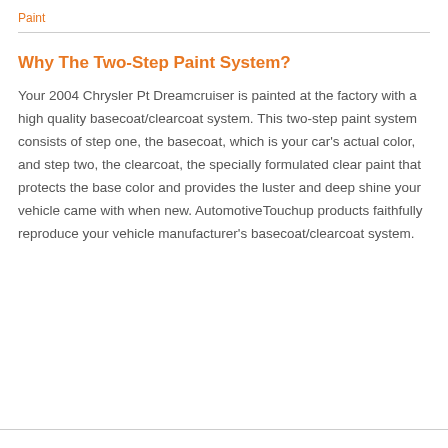Paint
Why The Two-Step Paint System?
Your 2004 Chrysler Pt Dreamcruiser is painted at the factory with a high quality basecoat/clearcoat system. This two-step paint system consists of step one, the basecoat, which is your car's actual color, and step two, the clearcoat, the specially formulated clear paint that protects the base color and provides the luster and deep shine your vehicle came with when new. AutomotiveTouchup products faithfully reproduce your vehicle manufacturer's basecoat/clearcoat system.